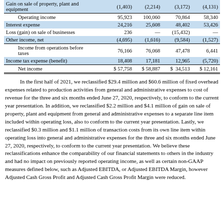|  | Col1 | Col2 | Col3 | Col4 |
| --- | --- | --- | --- | --- |
| Gain on sale of property, plant and equipment | (1,403) | (2,214) | (3,172) | (4,131) |
| Operating income | 95,923 | 100,060 | 70,864 | 58,340 |
| Interest expense | 24,216 | 25,608 | 48,402 | 53,426 |
| Loss (gain) on sale of businesses | 236 | — | (15,432) | — |
| Other income, net | (4,695) | (1,616) | (9,584) | (1,527) |
| Income from operations before taxes | 76,166 | 76,068 | 47,478 | 6,441 |
| Income tax expense (benefit) | 18,408 | 17,181 | 12,965 | (5,720) |
| Net income | $ 57,758 | $ 58,887 | $ 34,513 | $ 12,161 |
In the first half of 2021, we reclassified $29.4 million and $60.6 million of fixed overhead expenses related to production activities from general and administrative expenses to cost of revenue for the three and six months ended June 27, 2020, respectively, to conform to the current year presentation. In addition, we reclassified $2.2 million and $4.1 million of gain on sale of property, plant and equipment from general and administrative expenses to a separate line item included within operating loss, also to conform to the current year presentation. Lastly, we reclassified $0.3 million and $1.1 million of transaction costs from its own line item within operating loss into general and administrative expenses for the three and six months ended June 27, 2020, respectively, to conform to the current year presentation. We believe these reclassifications enhance the comparability of our financial statements to others in the industry and had no impact on previously reported operating income, as well as certain non-GAAP measures defined below, such as Adjusted EBITDA, or Adjusted EBITDA Margin, however Adjusted Cash Gross Profit and Adjusted Cash Gross Profit Margin were reduced.